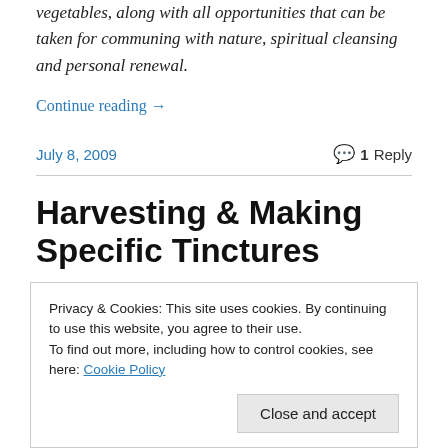vegetables, along with all opportunities that can be taken for communing with nature, spiritual cleansing and personal renewal.
Continue reading →
July 8, 2009
1 Reply
Harvesting & Making Specific Tinctures
Privacy & Cookies: This site uses cookies. By continuing to use this website, you agree to their use.
To find out more, including how to control cookies, see here: Cookie Policy
Close and accept
medicines, can ever be complete. This one focuses on two